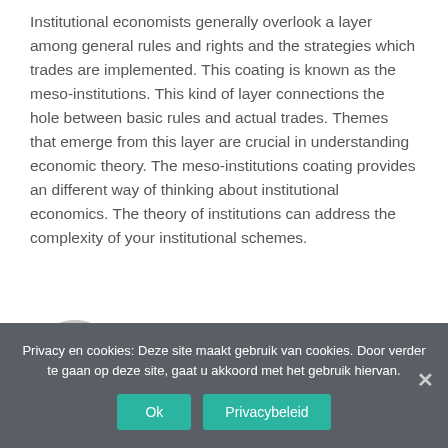Institutional economists generally overlook a layer among general rules and rights and the strategies which trades are implemented. This coating is known as the meso-institutions. This kind of layer connections the hole between basic rules and actual trades. Themes that emerge from this layer are crucial in understanding economic theory. The meso-institutions coating provides an different way of thinking about institutional economics. The theory of institutions can address the complexity of your institutional schemes.
[Figure (illustration): Gray avatar/profile icon circle placeholder]
GESCHREVEN DOOR
Privacy en cookies: Deze site maakt gebruik van cookies. Door verder te gaan op deze site, gaat u akkoord met het gebruik hiervan.